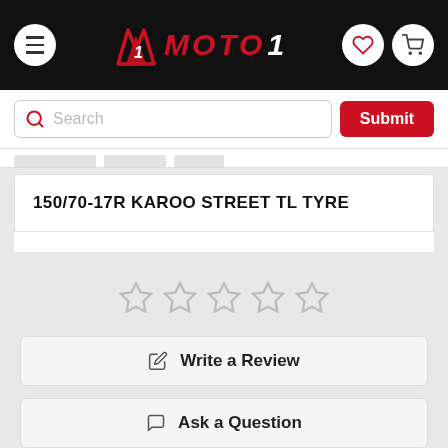[Figure (screenshot): Moto1 website navigation bar with hamburger menu, M1 MOTO1 logo in red and white, heart and cart icons on black background]
[Figure (screenshot): Search bar with red magnifying glass icon, placeholder text 'Search', and red Submit button]
150/70-17R KAROO STREET TL TYRE
[Figure (other): Five empty star rating icons in a row (no stars filled)]
Write a Review
Ask a Question